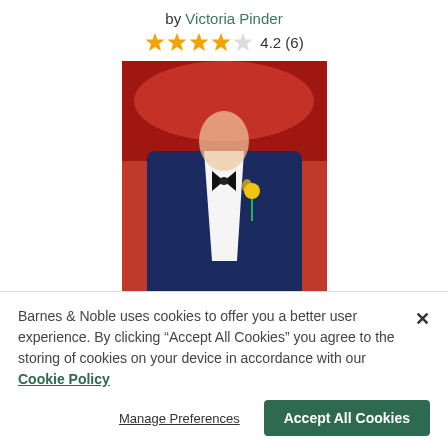by Victoria Pinder
4.2 (6)
[Figure (illustration): Book cover of 'secret' by Victoria Pinder showing a man in a navy tuxedo with a yellow boutonniere against a red background]
Barnes & Noble uses cookies to offer you a better user experience. By clicking "Accept All Cookies" you agree to the storing of cookies on your device in accordance with our Cookie Policy
Manage Preferences
Accept All Cookies